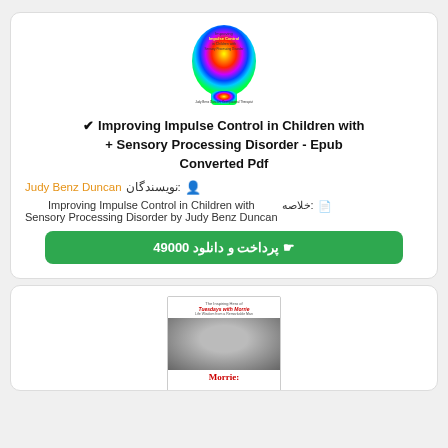[Figure (illustration): Book cover of Improving Impulse Control in Children with Sensory Processing Disorder — colorful rainbow head silhouette]
Improving Impulse Control in Children with ✔ Sensory Processing Disorder - Epub + Converted Pdf
نویسندگان: Judy Benz Duncan
خلاصه: Improving Impulse Control in Children with Sensory Processing Disorder by Judy Benz Duncan
پرداخت و دانلود 49000
[Figure (photo): Book cover of Morrie: The Inspiring Hero of Tuesdays with Morrie — man reading at desk, red title text Morrie:]